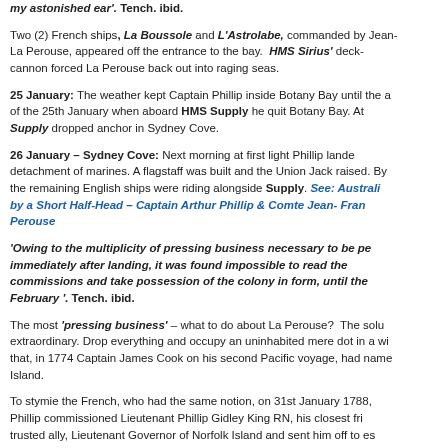my astonished ear'. Tench. ibid.
Two (2) French ships, La Boussole and L'Astrolabe, commanded by Jean- La Perouse, appeared off the entrance to the bay. HMS Sirius' deck-cannon forced La Perouse back out into raging seas.
25 January: The weather kept Captain Phillip inside Botany Bay until the a of the 25th January when aboard HMS Supply he quit Botany Bay. At Supply dropped anchor in Sydney Cove.
26 January – Sydney Cove: Next morning at first light Phillip lande detachment of marines. A flagstaff was built and the Union Jack raised. By the remaining English ships were riding alongside Supply. See: Australia by a Short Half-Head – Captain Arthur Phillip & Comte Jean- Fran Perouse
'Owing to the multiplicity of pressing business necessary to be pe immediately after landing, it was found impossible to read the commissions and take possession of the colony in form, until the February '. Tench. ibid.
The most 'pressing business' – what to do about La Perouse? The solu extraordinary. Drop everything and occupy an uninhabited mere dot in a wi that, in 1774 Captain James Cook on his second Pacific voyage, had name Island.
To stymie the French, who had the same notion, on 31st January 1788, Phillip commissioned Lieutenant Phillip Gidley King RN, his closest fri trusted ally, Lieutenant Governor of Norfolk Island and sent him off to es